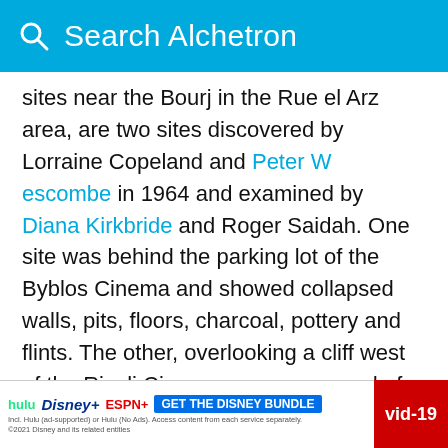Search Alchetron
sites near the Bourj in the Rue el Arz area, are two sites discovered by Lorraine Copeland and Peter Wescombe in 1964 and examined by Diana Kirkbride and Roger Saidah. One site was behind the parking lot of the Byblos Cinema and showed collapsed walls, pits, floors, charcoal, pottery and flints. The other, overlooking a cliff west of the Rivoli Cinema, was composed of three layers resting on limestone bedrock. Fragments of blades and broad flakes were recovered from the first layer of black soil, above which some Bronze Age pottery was recovered in a layer of grey soil. Pieces of Roman pottery were found in the upper layer. N
[Figure (screenshot): Advertisement banner: GET THE DISNEY BUNDLE with Hulu, Disney+, ESPN+ logos and small print. A Covid-19 red banner is on the right edge.]